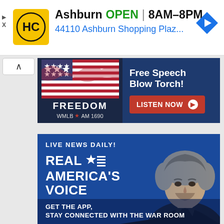[Figure (screenshot): Top advertisement bar for HC (Harris County or similar) store in Ashburn, showing yellow logo, location name, OPEN status, hours 8AM-8PM, address 44110 Ashburn Shopping Plaz..., and a blue navigation arrow icon. Left side has small arrow and X controls.]
[Figure (screenshot): Freedom WMLB AM 1690 radio banner advertisement on dark blue background. Left side shows US flag and FREEDOM WMLB AM 1690 text. Right side shows 'Free Speech Blow Torch!' headline and 'LISTEN NOW' red button.]
[Figure (screenshot): Real America's Voice advertisement banner on blue background featuring a man with gray hair. Text reads 'LIVE NEWS DAILY!' and 'REAL AMERICA'S VOICE' with star and lines logo. Bottom text: 'GET THE APP, STAY CONNECTED WITH THE WAR ROOM']